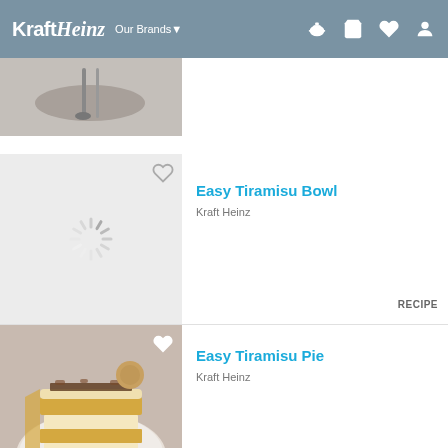Kraft Heinz — Our Brands ▾
[Figure (photo): Partial view of a food photo with silverware at top of page]
Easy Tiramisu Bowl
Kraft Heinz
RECIPE
[Figure (photo): Slice of tiramisu pie on a white plate with layers of cream and cookie crust]
Easy Tiramisu Pie
Kraft Heinz
RECIPE
[Figure (photo): Mocha pudding parfaits in clear glasses with whipped cream topping]
Mocha Pudding Parfaits
Kraft Heinz
RECIPE